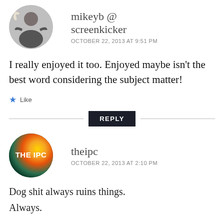[Figure (photo): Circular avatar of mikeyb @ screenkicker user]
mikeyb @
screenkicker
OCTOBER 22, 2013 AT 9:51 PM
I really enjoyed it too. Enjoyed maybe isn't the best word considering the subject matter!
★ Like
REPLY
[Figure (logo): Circular avatar of theipc with orange and green gradient and THE IPC text]
theipc
OCTOBER 22, 2013 AT 2:10 PM
Dog shit always ruins things. Always.